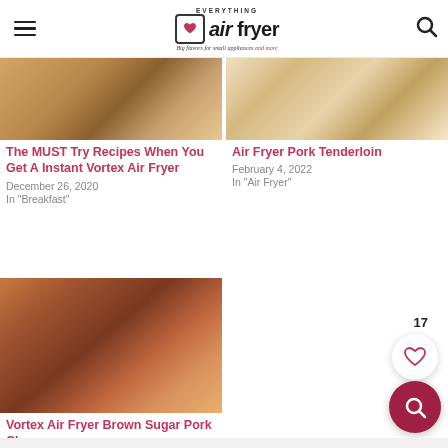Everything Air Fryer — Big flavors for small appliances and more
[Figure (photo): Cropped food photo top left - baked/fried item]
The MUST Try Recipes When You Get A Instant Vortex Air Fryer
December 26, 2020
In "Breakfast"
[Figure (photo): Cropped food photo top right - pork tenderloin]
Air Fryer Pork Tenderloin
February 4, 2022
In "Air Fryer"
[Figure (photo): Vortex Air Fryer Brown Sugar Pork Chops - browned pork chop on cutting board]
Vortex Air Fryer Brown Sugar Pork Chops
May 30, 2021
In "Air Fryer"